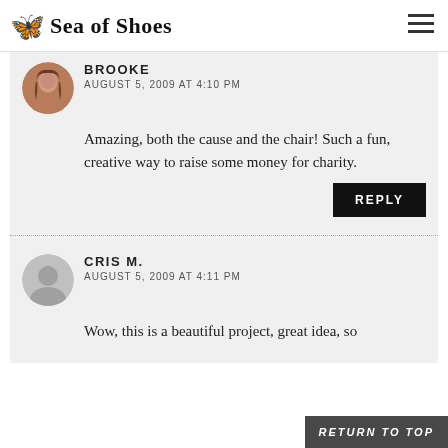Sea of Shoes
BROOKE
AUGUST 5, 2009 AT 4:10 PM
Amazing, both the cause and the chair! Such a fun, creative way to raise some money for charity.
REPLY
CRIS M.
AUGUST 5, 2009 AT 4:11 PM
Wow, this is a beautiful project, great idea, so
RETURN TO TOP